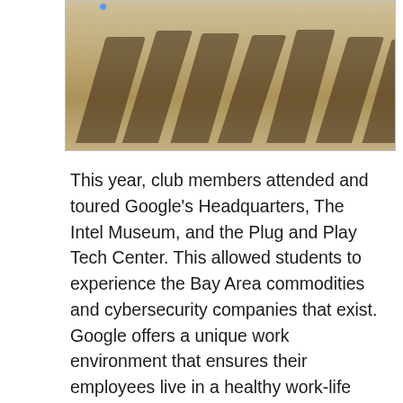[Figure (photo): Photograph showing long shadows of people cast on sandy/dirt ground, taken outdoors likely at Google's campus or a field trip location. A blue dot/ball is visible in the upper left area of the image.]
This year, club members attended and toured Google's Headquarters, The Intel Museum, and the Plug and Play Tech Center. This allowed students to experience the Bay Area commodities and cybersecurity companies that exist. Google offers a unique work environment that ensures their employees live in a healthy work-life balance. Our students were surprised how Google provides free gourmet meals, freedom to pursue creative ideas, and collaborate with the best minds in the industry. The GooglePlex has 3D printing labs, employee gardens, and gyms available for employees to use during the workday. Google offers student internships in cybersecurity, and we talked to them about participating in our career fair that we offer for students in both the